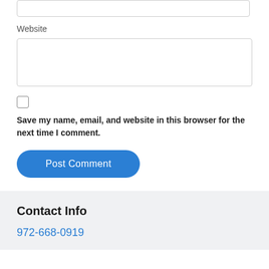Website
Save my name, email, and website in this browser for the next time I comment.
Post Comment
Contact Info
972-668-0919